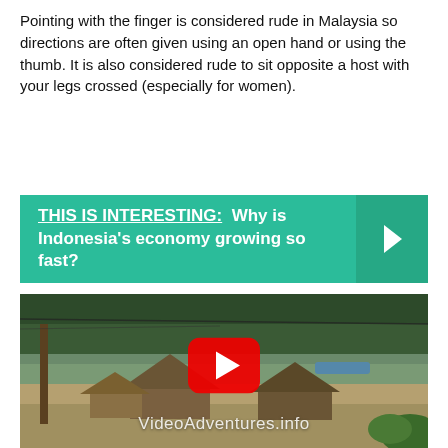Pointing with the finger is considered rude in Malaysia so directions are often given using an open hand or using the thumb. It is also considered rude to sit opposite a host with your legs crossed (especially for women).
[Figure (infographic): Teal/green banner with text: THIS IS INTERESTING: Why is Indonesia's economy growing so fast? with a right-arrow chevron on the right side]
[Figure (screenshot): Video thumbnail showing thatched hut village on a riverbank with jungle behind. YouTube play button in center. Watermark text: VideoAdventures.info]